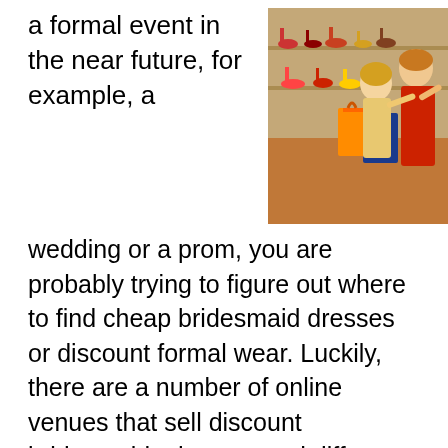a formal event in the near future, for example, a
[Figure (photo): Two women shopping for shoes in a store, one in red dress and one in orange, holding shopping bags, looking at shoes on display shelves]
wedding or a prom, you are probably trying to figure out where to find cheap bridesmaid dresses or discount formal wear. Luckily, there are a number of online venues that sell discount bridesmaids dresses and different types of prom dresses that are marked down from their original price. This is good news, because as you know, it can be challenging to find bridesmaid dresses and different types of prom dresses on a tight budget.
If you are at looking at different types of prom